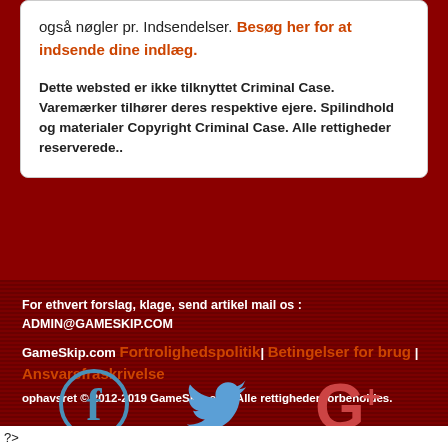også nøgler pr. Indsendelser. Besøg her for at indsende dine indlæg.
Dette websted er ikke tilknyttet Criminal Case. Varemærker tilhører deres respektive ejere. Spilindhold og materialer Copyright Criminal Case. Alle rettigheder reserverede..
For ethvert forslag, klage, send artikel mail os : ADMIN@GAMESKIP.COM
GameSkip.com Fortrolighedspolitik| Betingelser for brug | Ansvarsfraskrivelse
ophavsret © 2012-2019 GameSkip.com Alle rettigheder forbeholdes.
[Figure (logo): Facebook, Twitter, and Google+ social media icons]
?>